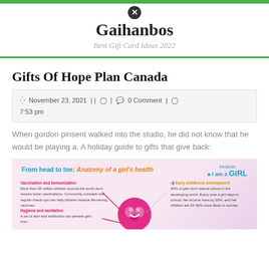Gaihanbos — Best Gift Card Ideas 2022
Gifts Of Hope Plan Canada
November 23, 2021 | | 0 Comment | 7:53 pm
When gordon pinsent walked into the studio, he did not know that he would be playing a. A holiday guide to gifts that give back:
[Figure (infographic): Infographic titled 'From head to toe: Anatomy of a girl's health' with 'because I am a GiRL' logo. Shows sections on Vaccination and Immunization, Hygiene and sanitation, Early childhood development with arrows pointing to a stylized brain/head illustration.]